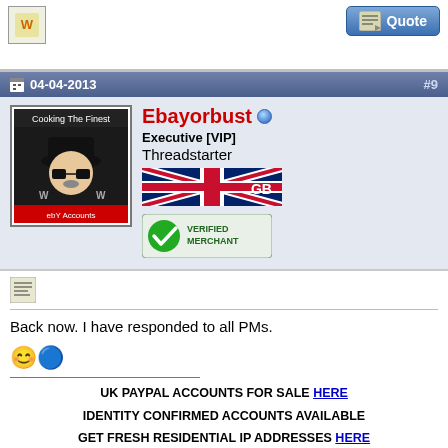[Figure (screenshot): Top partial forum post with user avatar icon and Quote button]
04-04-2013  #9
[Figure (screenshot): Forum user profile: Ebayorbust, Executive [VIP], Threadstarter, GB flag, Verified Merchant badge, avatar showing Breaking Bad character]
Back now. I have responded to all PMs.
UK PAYPAL ACCOUNTS FOR SALE HERE
IDENTITY CONFIRMED ACCOUNTS AVAILABLE
GET FRESH RESIDENTIAL IP ADDRESSES HERE
04-04-2013  #10
Jon3128